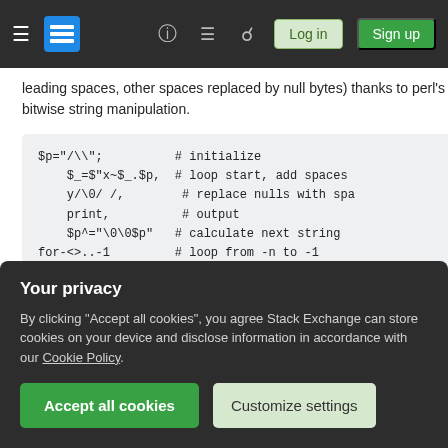Stack Exchange navigation bar with logo, help, chat, search, log in, sign up
leading spaces, other spaces replaced by null bytes) thanks to perl's bitwise string manipulation.
[Figure (screenshot): Code block showing Perl golf code: $p="/\\"; # initialize, $_=$"x~$_.$p, # loop start, add spaces, y/\0/ /, # replace nulls with spa, print, # output, $p^="\0\0$p" # calculate next string, for-<>..-1 # loop from -n to -1]
Share		edited Oct 22, 2014 at 15:56
Improve this answer
Your privacy
By clicking "Accept all cookies", you agree Stack Exchange can store cookies on your device and disclose information in accordance with our Cookie Policy.
Accept all cookies
Customize settings